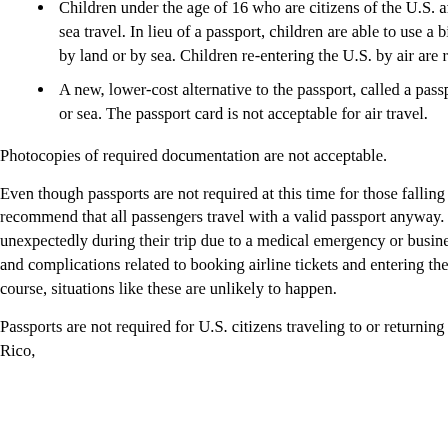Children under the age of 16 who are citizens of the U.S. are exempt from the passport requirement for land and sea travel. In lieu of a passport, children are able to use a birth certificate proving citizenship for entry into the U.S. by land or by sea. Children re-entering the U.S. by air are required to have a valid passport.
A new, lower-cost alternative to the passport, called a passport card, is acceptable for entries into the U.S. by land or sea. The passport card is not acceptable for air travel.
Photocopies of required documentation are not acceptable.
Even though passports are not required at this time for those falling under the exceptions mentioned above, we strongly recommend that all passengers travel with a valid passport anyway. This is because those who must return from the U.S. unexpectedly during their trip due to a medical emergency or business emergency will likely experience significant delays and complications related to booking airline tickets and entering the U.S. if they do not have a valid passport with them. Of course, situations like these are unlikely to happen.
Passports are not required for U.S. citizens traveling to or returning from Hawaii or a U.S. territory, including Guam, Puerto Rico,